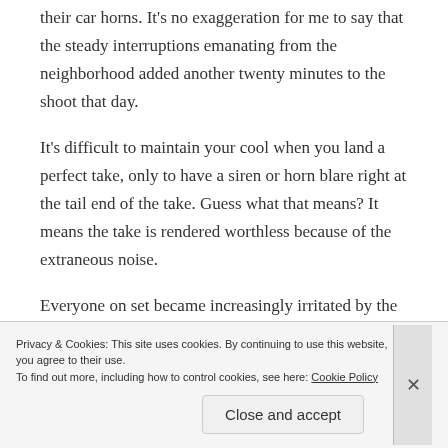their car horns. It’s no exaggeration for me to say that the steady interruptions emanating from the neighborhood added another twenty minutes to the shoot that day.
It’s difficult to maintain your cool when you land a perfect take, only to have a siren or horn blare right at the tail end of the take. Guess what that means? It means the take is rendered worthless because of the extraneous noise.
Everyone on set became increasingly irritated by the
Privacy & Cookies: This site uses cookies. By continuing to use this website, you agree to their use.
To find out more, including how to control cookies, see here: Cookie Policy
Close and accept